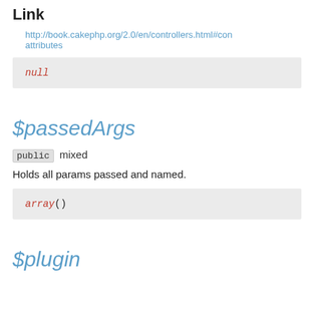Link
http://book.cakephp.org/2.0/en/controllers.html#con attributes
null
$passedArgs
public mixed
Holds all params passed and named.
array()
$plugin